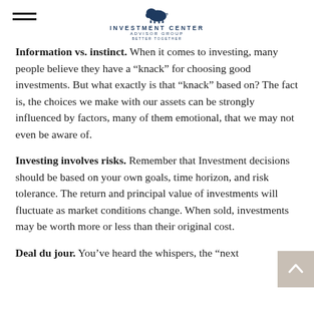Investment Center Advisor Group — Better Together
Information vs. instinct. When it comes to investing, many people believe they have a “knack” for choosing good investments. But what exactly is that “knack” based on? The fact is, the choices we make with our assets can be strongly influenced by factors, many of them emotional, that we may not even be aware of.
Investing involves risks. Remember that Investment decisions should be based on your own goals, time horizon, and risk tolerance. The return and principal value of investments will fluctuate as market conditions change. When sold, investments may be worth more or less than their original cost.
Deal du jour. You’ve heard the whispers, the “next